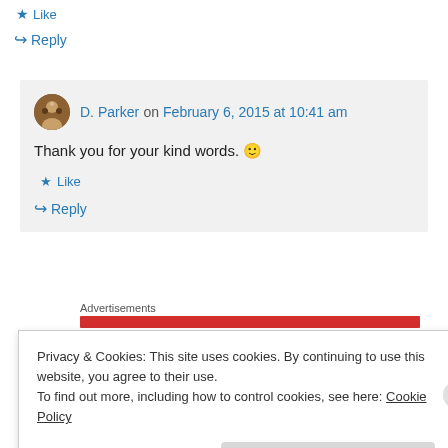★ Like
↪ Reply
D. Parker on February 6, 2015 at 10:41 am
Thank you for your kind words. 🙂
★ Like
↪ Reply
Advertisements
Privacy & Cookies: This site uses cookies. By continuing to use this website, you agree to their use.
To find out more, including how to control cookies, see here: Cookie Policy
Close and accept